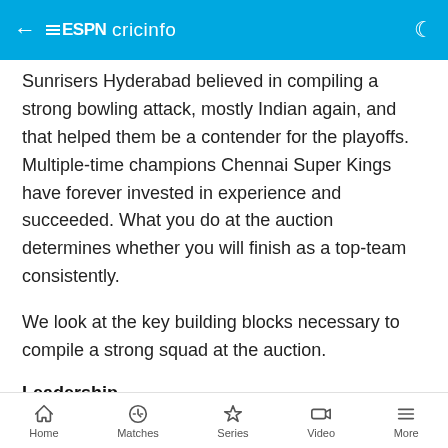ESPN cricinfo
Sunrisers Hyderabad believed in compiling a strong bowling attack, mostly Indian again, and that helped them be a contender for the playoffs. Multiple-time champions Chennai Super Kings have forever invested in experience and succeeded. What you do at the auction determines whether you will finish as a top-team consistently.
We look at the key building blocks necessary to compile a strong squad at the auction.
Leadership
Pick the captain. Then empower the captain. MS Dhoni believes that experience is a key ingredient to
Home  Matches  Series  Video  More